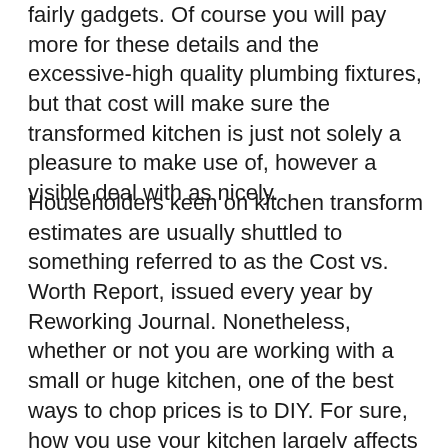fairly gadgets. Of course you will pay more for these details and the excessive-high quality plumbing fixtures, but that cost will make sure the transformed kitchen is just not solely a pleasure to make use of, however a visible deal with as nicely.
Householders keen on kitchen transform estimates are usually shuttled to something referred to as the Cost vs. Worth Report, issued every year by Reworking Journal. Nonetheless, whether or not you are working with a small or huge kitchen, one of the best ways to chop prices is to DIY. For sure, how you use your kitchen largely affects your kitchen remodeling value. The ultimate factor you might want to think about whether or not you need to redo or just contact up is your splashback and walls below between the kitchen cupboards, there are a number of choices for all price range sorts and tastes accessible.